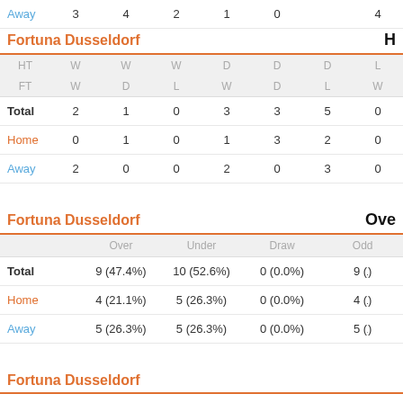|  | W | W | W | D | D | D | L |
| --- | --- | --- | --- | --- | --- | --- | --- |
| HT | W | W | W | D | D | D | L |
| FT | W | D | L | W | D | L | W |
| Total | 2 | 1 | 0 | 3 | 3 | 5 | 0 |
| Home | 0 | 1 | 0 | 1 | 3 | 2 | 0 |
| Away | 2 | 0 | 0 | 2 | 0 | 3 | 0 |
Fortuna Dusseldorf
|  | Over | Under | Draw | Odd |
| --- | --- | --- | --- | --- |
| Total | 9 (47.4%) | 10 (52.6%) | 0 (0.0%) | 9 (...) |
| Home | 4 (21.1%) | 5 (26.3%) | 0 (0.0%) | 4 (...) |
| Away | 5 (26.3%) | 5 (26.3%) | 0 (0.0%) | 5 (...) |
Fortuna Dusseldorf
Fortuna Dusseldorf